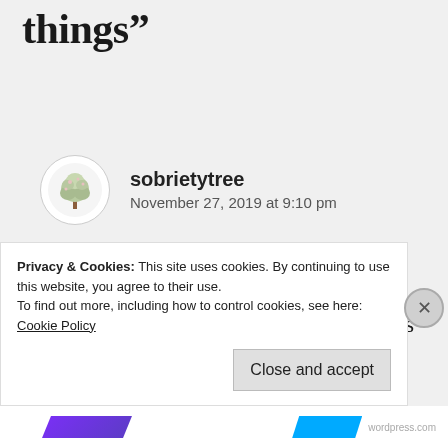things”
sobrietytree
November 27, 2019 at 9:10 pm
Thank you for this beautiful post... it means a lot. I got a bit antsy after publishing it, seeing views but no likes (I
Privacy & Cookies: This site uses cookies. By continuing to use this website, you agree to their use.
To find out more, including how to control cookies, see here:
Cookie Policy
Close and accept